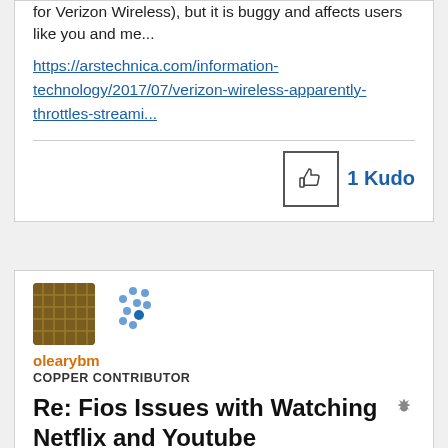for Verizon Wireless), but it is buggy and affects users like you and me...
https://arstechnica.com/information-technology/2017/07/verizon-wireless-apparently-throttles-streami...
1 Kudo
olearybm
COPPER CONTRIBUTOR
Re: Fios Issues with Watching Netflix and Youtube
12-08-2017 04:58 PM
Message 4 of 51 (27,328 Views)
I am receiving the same error code from Netflix as well: